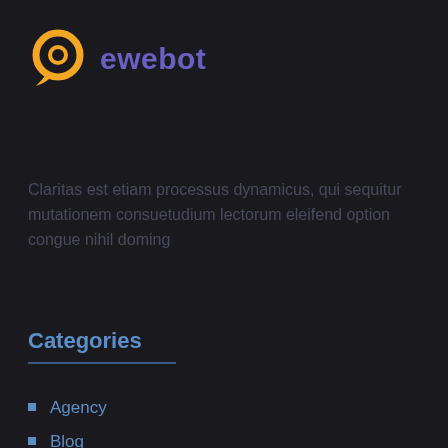[Figure (logo): Ewebot logo: orange circular icon with inner circle and speech bubble tail, followed by purple text 'ewebot']
Claritas est etiam processus dynamicus, qui sequitur mutationem consuetudium lectorum eleifend option congue nihil doming
Categories
Agency
Blog
Branding
Business
Decoration
Domain